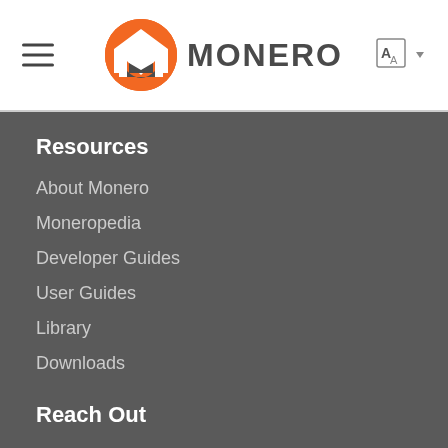MONERO
Resources
About Monero
Moneropedia
Developer Guides
User Guides
Library
Downloads
Reach Out
Workgroups
Hangouts
Mailing List